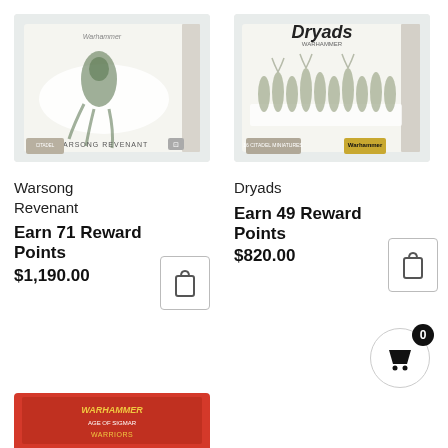[Figure (photo): Product box image of Warsong Revenant miniature game figure set]
[Figure (photo): Product box image of Dryads miniature game figures set with 16 citadel miniatures]
Warsong Revenant
Earn 71 Reward Points
$1,190.00
Dryads
Earn 49 Reward Points
$820.00
[Figure (photo): Partial product box image of another Warhammer product at bottom of page]